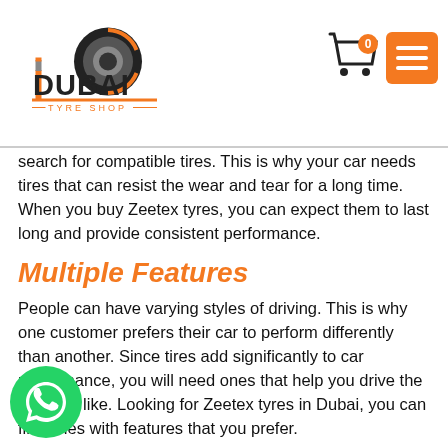Dubai Tyre Shop — logo and navigation header
search for compatible tires. This is why your car needs tires that can resist the wear and tear for a long time. When you buy Zeetex tyres, you can expect them to last long and provide consistent performance.
Multiple Features
People can have varying styles of driving. This is why one customer prefers their car to perform differently than another. Since tires add significantly to car performance, you will need ones that help you drive the way you like. Looking for Zeetex tyres in Dubai, you can find ones with features that you prefer.
High Quality
tyres in Abu Dhabi are manufactured using the highest quality materials. The latest techniques are applied to ensure